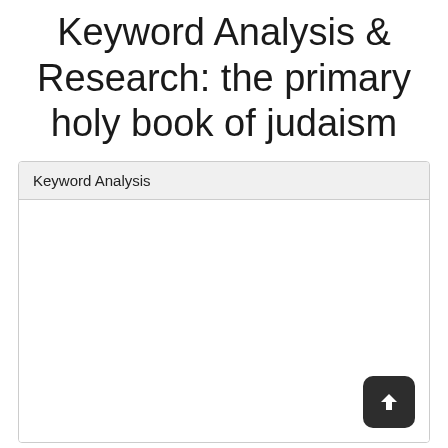Keyword Analysis & Research: the primary holy book of judaism
| Keyword Analysis |
| --- |